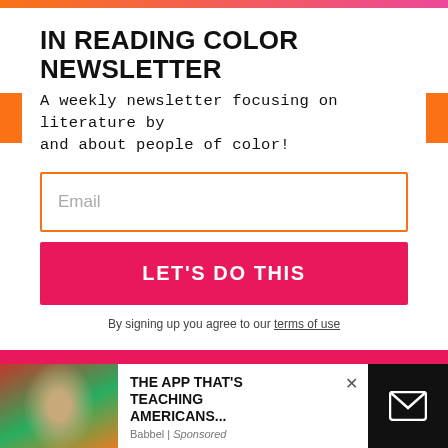IN READING COLOR NEWSLETTER
A weekly newsletter focusing on literature by and about people of color!
Email
LET'S DO THIS
By signing up you agree to our terms of use
[Figure (photo): Advertisement showing a person's face with Mexican flag colors in background, with text 'THE APP THAT'S TEACHING AMERICANS...' and sponsor label 'Babbel | Sponsored']
THE APP THAT'S TEACHING AMERICANS...
Babbel | Sponsored